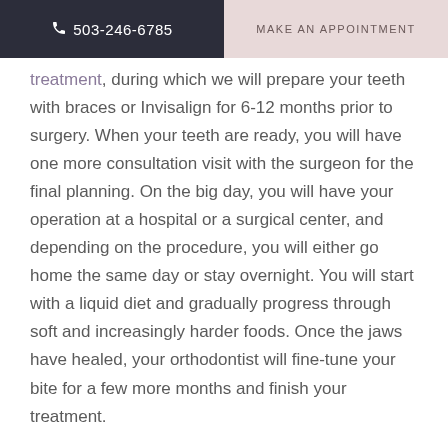503-246-6785  |  MAKE AN APPOINTMENT
treatment, during which we will prepare your teeth with braces or Invisalign for 6-12 months prior to surgery. When your teeth are ready, you will have one more consultation visit with the surgeon for the final planning. On the big day, you will have your operation at a hospital or a surgical center, and depending on the procedure, you will either go home the same day or stay overnight. You will start with a liquid diet and gradually progress through soft and increasingly harder foods. Once the jaws have healed, your orthodontist will fine-tune your bite for a few more months and finish your treatment.
What Are The Risks Associated With Portland Orthognathic Surgery?